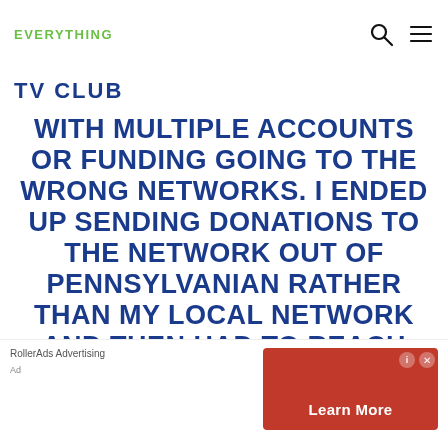EVERYTHING
TV CLUB
WITH MULTIPLE ACCOUNTS OR FUNDING GOING TO THE WRONG NETWORKS. I ENDED UP SENDING DONATIONS TO THE NETWORK OUT OF PENNSYLVANIAN RATHER THAN MY LOCAL NETWORK AND THEN HAD TO REACH OUT TO THEM TO DIRECTLY TO CANCEL MY DONATIONS.IF THE APP COULD BECOME THE PRIMARY PLACE TO MANAGE FUNDING, ACCOUNTS AND NETWORKS TO REDUCE THE
RollerAds Advertising
Ad
Learn More